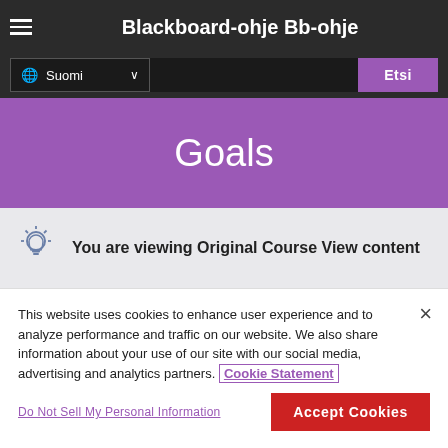Blackboard-ohje Bb-ohje
Goals
You are viewing Original Course View content
This website uses cookies to enhance user experience and to analyze performance and traffic on our website. We also share information about your use of our site with our social media, advertising and analytics partners. Cookie Statement
Do Not Sell My Personal Information
Accept Cookies